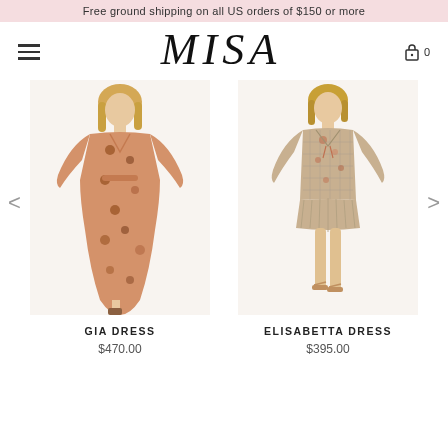Free ground shipping on all US orders of $150 or more
MISA
[Figure (photo): Model wearing GIA DRESS - a long floral boho maxi dress in warm coral/tan tones with long sleeves]
GIA DRESS
$470.00
[Figure (photo): Model wearing ELISABETTA DRESS - a short floral mini dress in neutral tones with long sleeves and pleated skirt]
ELISABETTA DRESS
$395.00